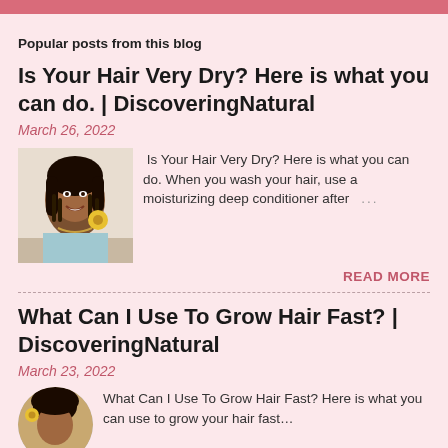Popular posts from this blog
Is Your Hair Very Dry? Here is what you can do. | DiscoveringNatural
March 26, 2022
[Figure (photo): Woman with long braids holding a yellow flower, smiling]
Is Your Hair Very Dry? Here is what you can do. When you wash your hair, use a moisturizing deep conditioner after ...
READ MORE
What Can I Use To Grow Hair Fast? | DiscoveringNatural
March 23, 2022
[Figure (photo): Partial image of a person with natural hair, partially cut off]